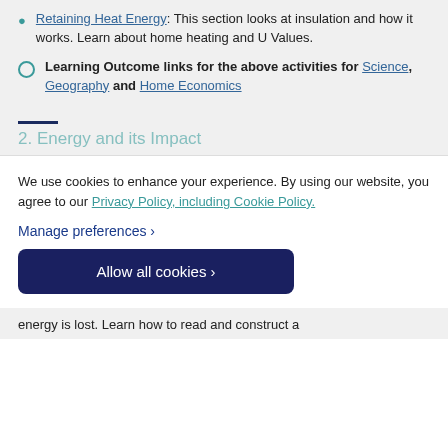Retaining Heat Energy. This section looks at insulation and how it works. Learn about home heating and U Values.
Learning Outcome links for the above activities for Science, Geography and Home Economics
2. Energy and its Impact
We use cookies to enhance your experience. By using our website, you agree to our Privacy Policy, including Cookie Policy.
Manage preferences >
Allow all cookies >
energy is lost. Learn how to read and construct a